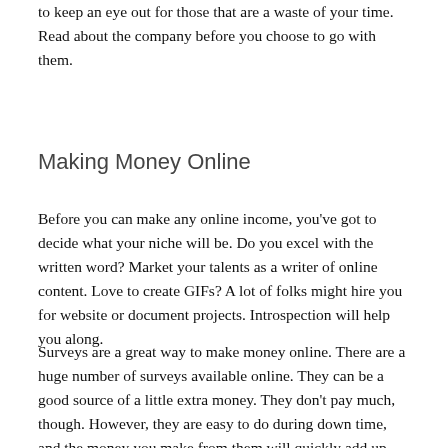to keep an eye out for those that are a waste of your time. Read about the company before you choose to go with them.
Making Money Online
Before you can make any online income, you've got to decide what your niche will be. Do you excel with the written word? Market your talents as a writer of online content. Love to create GIFs? A lot of folks might hire you for website or document projects. Introspection will help you along.
Surveys are a great way to make money online. There are a huge number of surveys available online. They can be a good source of a little extra money. They don't pay much, though. However, they are easy to do during down time, and the money you make from them will quickly add up.